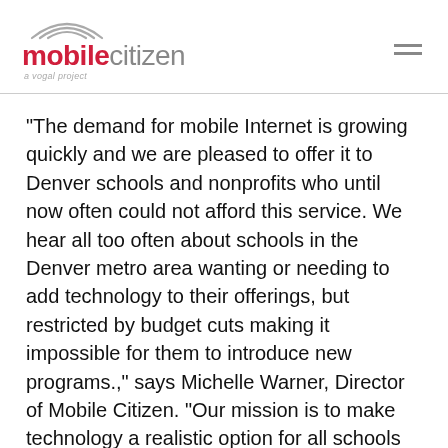mobile citizen — a vogal project
“The demand for mobile Internet is growing quickly and we are pleased to offer it to Denver schools and nonprofits who until now often could not afford this service. We hear all too often about schools in the Denver metro area wanting or needing to add technology to their offerings, but restricted by budget cuts making it impossible for them to introduce new programs.,” says Michelle Warner, Director of Mobile Citizen. “Our mission is to make technology a realistic option for all schools and nonprofits.”
Mobile Internet is particularly useful to nonprofits with mobile field-based staff, or who just want a cost-effective solution.